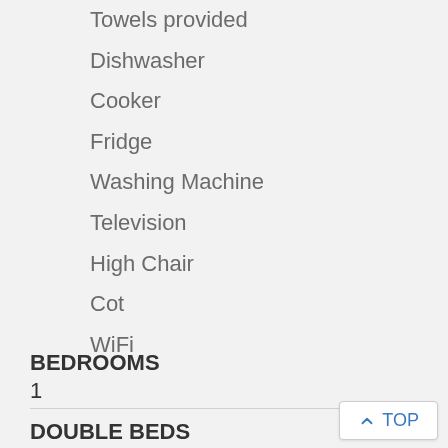Towels provided
Dishwasher
Cooker
Fridge
Washing Machine
Television
High Chair
Cot
WiFi
BEDROOMS
1
DOUBLE BEDS